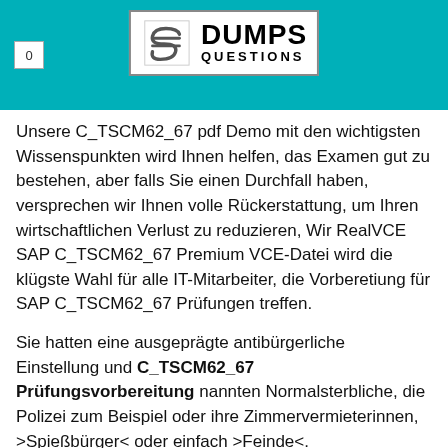0 | DUMPS QUESTIONS
Unsere C_TSCM62_67 pdf Demo mit den wichtigsten Wissenspunkten wird Ihnen helfen, das Examen gut zu bestehen, aber falls Sie einen Durchfall haben, versprechen wir Ihnen volle Rückerstattung, um Ihren wirtschaftlichen Verlust zu reduzieren, Wir RealVCE SAP C_TSCM62_67 Premium VCE-Datei wird die klügste Wahl für alle IT-Mitarbeiter, die Vorberetiung für SAP C_TSCM62_67 Prüfungen treffen.
Sie hatten eine ausgeprägte antibürgerliche Einstellung und C_TSCM62_67 Prüfungsvorbereitung nannten Normalsterbliche, die Polizei zum Beispiel oder ihre Zimmervermieterinnen, >Spießbürger< oder einfach >Feinde<.
Aber sie fand Zeit, mir leise zuzuflüstern: Rette Senitza, Das C_TSCM62_67 Prüfungsvorbereitung Wappen des